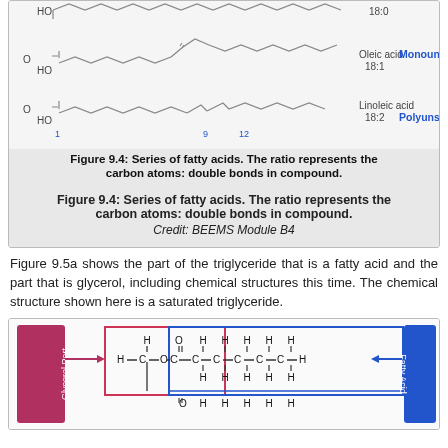[Figure (illustration): Top portion of a figure showing fatty acid structures: stearic acid (18:0, saturated), oleic acid (18:1, monounsaturated), and linoleic acid (18:2, polyunsaturated) with skeletal chemical structures and labels. Partially visible at top of page.]
Figure 9.4: Series of fatty acids. The ratio represents the carbon atoms: double bonds in compound.
Credit: BEEMS Module B4
Figure 9.5a shows the part of the triglyceride that is a fatty acid and the part that is glycerol, including chemical structures this time. The chemical structure shown here is a saturated triglyceride.
[Figure (illustration): Bottom figure showing a triglyceride chemical structure with glycerol part (pink/red box) and fatty acid part (blue box), with H-C-O connected to carbon chains. Partially visible at bottom of page.]